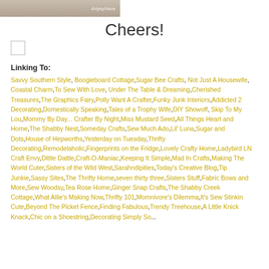[Figure (photo): Partial photo with ArtysyVava watermark visible at the top]
Cheers!
[Figure (other): Small checkbox/square icon]
Linking To:
Savvy Southern Style, Boogieboard Cottage, Sugar Bee Crafts, Not Just A Housewife, Coastal Charm, To Sew With Love, Under The Table & Dreaming, Cherished Treasures, The Graphics Fairy, Polly Want A Crafter, Funky Junk Interiors, Addicted 2 Decorating, Domestically Speaking, Tales of a Trophy Wife, DIY Showoff, Skip To My Lou, Mommy By Day... Crafter By Night, Miss Mustard Seed, All Things Heart and Home, The Shabby Nest, Someday Crafts, Sew Much Ado, Lil' Luna, Sugar and Dots, House of Hepworths, Yesterday on Tuesday, Thrifty Decorating, Remodelaholic, Fingerprints on the Fridge, Lovely Crafty Home, Ladybird LN Craft Envy, Dittle Dattle, Craft-O-Maniac, Keeping It Simple, Mad In Crafts, Making The World Cuter, Sisters of the Wild West, Sarahndipities, Today's Creative Blog, Tip Junkie, Sassy Sites, The Thrifty Home, seven thirty three, Sisters Stuff, Fabric Bows and More, Sew Woodsy, Tea Rose Home, Ginger Snap Crafts, The Shabby Creek Cottage, What Allie's Making Now, Thrifty 101, Momnivore's Dilemma, It's Sew Stinkin Cute, Beyond The Picket Fence, Finding Fabulous, Trendy Treehouse, A Little Knick Knack, Chic on a Shoestring, Decorating Simply So...